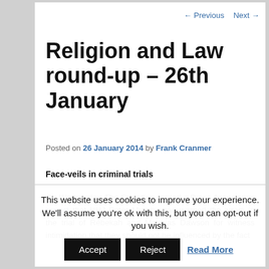← Previous   Next →
Religion and Law round-up – 26th January
Posted on 26 January 2014 by Frank Cranmer
Face-veils in criminal trials
On Wednesday The Guardian carried a Press Association report that HHJ Peter Murphy had warned the jurors in the trial of Rebekah and Matthias Dawson for witness intimidation that they should not be influenced by the fact
This website uses cookies to improve your experience. We'll assume you're ok with this, but you can opt-out if you wish.